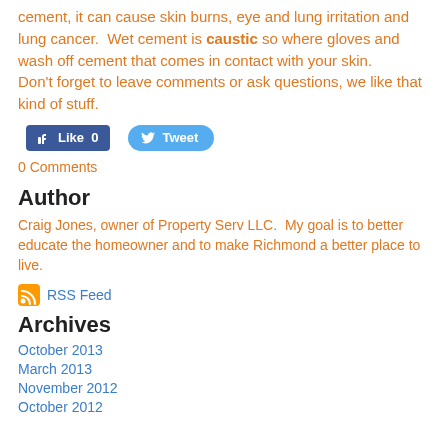cement, it can cause skin burns, eye and lung irritation and lung cancer. Wet cement is caustic so where gloves and wash off cement that comes in contact with your skin.
Don't forget to leave comments or ask questions, we like that kind of stuff.
[Figure (other): Social media buttons: Facebook Like (0) and Tweet buttons]
0 Comments
Author
Craig Jones, owner of Property Serv LLC. My goal is to better educate the homeowner and to make Richmond a better place to live.
RSS Feed
Archives
October 2013
March 2013
November 2012
October 2012